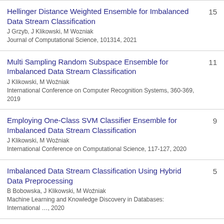Hellinger Distance Weighted Ensemble for Imbalanced Data Stream Classification | J Grzyb, J Klikowski, M Wozniak | Journal of Computational Science, 101314, 2021 | 15
Multi Sampling Random Subspace Ensemble for Imbalanced Data Stream Classification | J Klikowski, M Woźniak | International Conference on Computer Recognition Systems, 360-369, 2019 | 11
Employing One-Class SVM Classifier Ensemble for Imbalanced Data Stream Classification | J Klikowski, M Woźniak | International Conference on Computational Science, 117-127, 2020 | 9
Imbalanced Data Stream Classification Using Hybrid Data Preprocessing | B Bobowska, J Klikowski, M Woźniak | Machine Learning and Knowledge Discovery in Databases: International …, 2020 | 5
A Genetic-Based Ensemble learning... (partial)